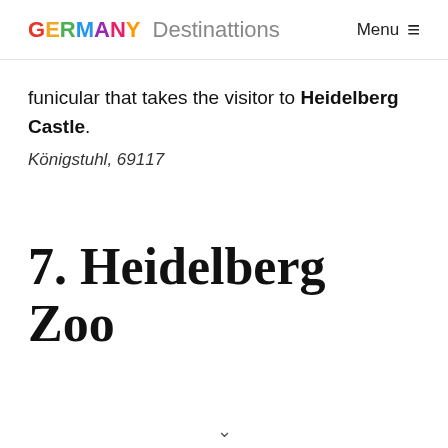GERMANY Destinations   Menu ≡
funicular that takes the visitor to Heidelberg Castle.
Königstuhl, 69117
7. Heidelberg Zoo
∨